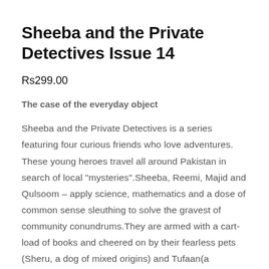Sheeba and the Private Detectives Issue 14
Rs299.00
The case of the everyday object
Sheeba and the Private Detectives is a series featuring four curious friends who love adventures. These young heroes travel all around Pakistan in search of local "mysteries".Sheeba, Reemi, Majid and Qulsoom – apply science, mathematics and a dose of common sense sleuthing to solve the gravest of community conundrums.They are armed with a cart-load of books and cheered on by their fearless pets (Sheru, a dog of mixed origins) and Tufaan(a